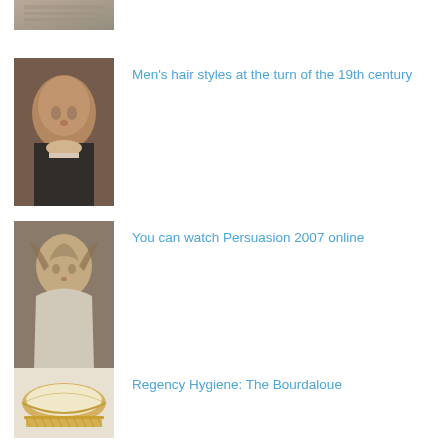[Figure (photo): Partial thumbnail of a historical image, cropped at top of page]
Men's hair styles at the turn of the 19th century
You can watch Persuasion 2007 online
Regency Hygiene: The Bourdaloue
Social Customs During the Regency
Pride and Prejudice Economics: Or Why a Single...